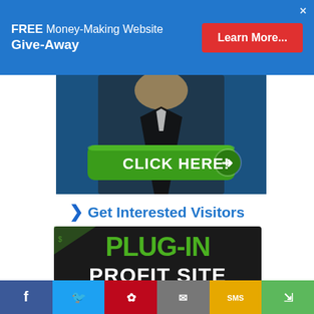FREE Money-Making Website Give-Away | Learn More...
[Figure (photo): Person in business suit with arms crossed and a green CLICK HERE button overlay]
❯ Get Interested Visitors
[Figure (photo): Plug-In Profit Site logo: bold green PLUG-IN text and white PROFIT SITE text on dark background with dollar bill]
[Figure (infographic): Social share bar with Facebook, Twitter, Pinterest, Email, SMS, and Share buttons]